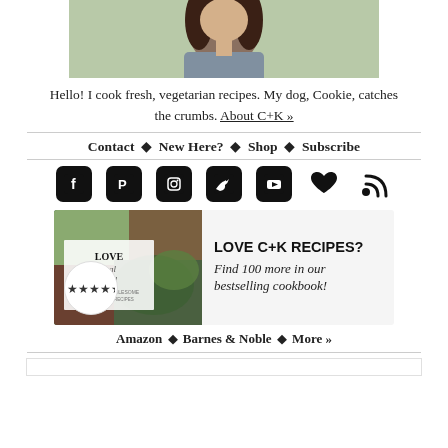[Figure (photo): Partial photo of a woman with long dark curly hair, outdoors with green background, cropped to show head and shoulders]
Hello! I cook fresh, vegetarian recipes. My dog, Cookie, catches the crumbs. About C+K »
Contact ◆ New Here? ◆ Shop ◆ Subscribe
[Figure (infographic): Social media icons: Facebook, Pinterest, Instagram, Twitter, YouTube, heart (Bloglovin), RSS feed]
[Figure (infographic): Cookbook advertisement: Love Real Food cookbook cover with star rating badge, text LOVE C+K RECIPES? Find 100 more in our bestselling cookbook!]
Amazon ◆ Barnes & Noble ◆ More »